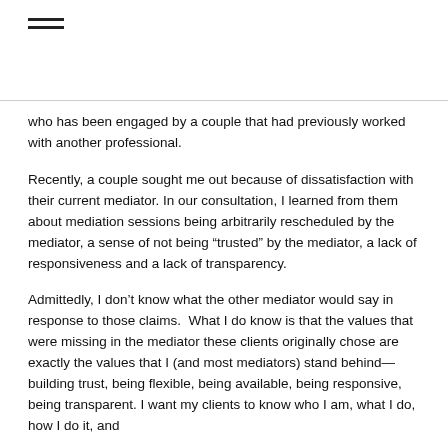≡
who has been engaged by a couple that had previously worked with another professional.
Recently, a couple sought me out because of dissatisfaction with their current mediator. In our consultation, I learned from them about mediation sessions being arbitrarily rescheduled by the mediator, a sense of not being “trusted” by the mediator, a lack of responsiveness and a lack of transparency.
Admittedly, I don’t know what the other mediator would say in response to those claims.  What I do know is that the values that were missing in the mediator these clients originally chose are exactly the values that I (and most mediators) stand behind— building trust, being flexible, being available, being responsive, being transparent. I want my clients to know who I am, what I do, how I do it, and